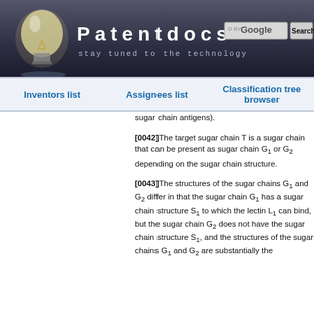[Figure (logo): Patentdocs website header with lightbulb logo, site title 'Patentdocs', tagline 'stay tuned to the technology', and a Google search box with Search button]
Inventors list | Assignees list | Classification tree browser
sugar chain antigens).
[0042]The target sugar chain T is a sugar chain that can be present as sugar chain G1 or G2 depending on the sugar chain structure.
[0043]The structures of the sugar chains G1 and G2 differ in that the sugar chain G1 has a sugar chain structure S1 to which the lectin L1 can bind, but the sugar chain G2 does not have the sugar chain structure S1, and the structures of the sugar chains G1 and G2 are substantially the